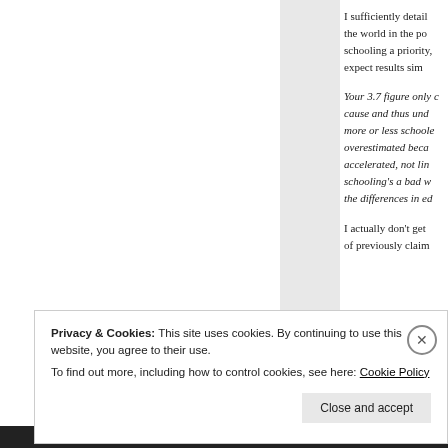I sufficiently detail the world in the po schooling a priority, expect results sim
Your 3.7 figure only c cause and thus und more or less schoole overestimated beca accelerated, not lin schooling's a bad w the differences in ed
I actually don't get of previously claim
Privacy & Cookies: This site uses cookies. By continuing to use this website, you agree to their use. To find out more, including how to control cookies, see here: Cookie Policy
Close and accept
about me